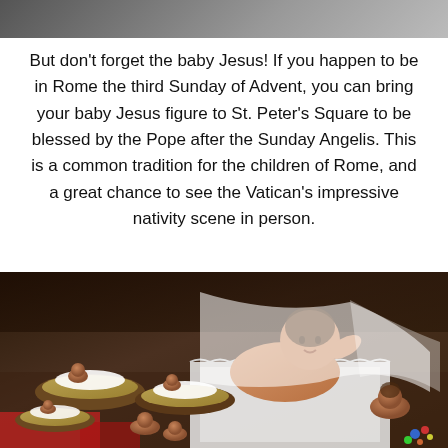[Figure (photo): Partial top image showing people, cropped at top of page]
But don't forget the baby Jesus! If you happen to be in Rome the third Sunday of Advent, you can bring your baby Jesus figure to St. Peter's Square to be blessed by the Pope after the Sunday Angelis. This is a common tradition for the children of Rome, and a great chance to see the Vatican's impressive nativity scene in person.
[Figure (photo): Multiple baby Jesus figurines in nativity cradles with hay and white lace fabric, displayed on a table]